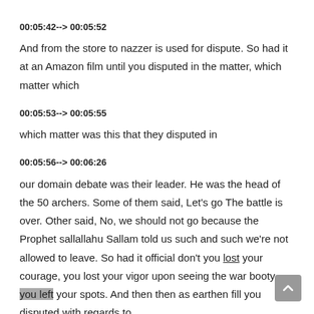00:05:42--> 00:05:52
And from the store to nazzer is used for dispute. So had it at an Amazon film until you disputed in the matter, which matter which
00:05:53--> 00:05:55
which matter was this that they disputed in
00:05:56--> 00:06:26
our domain debate was their leader. He was the head of the 50 archers. Some of them said, Let's go The battle is over. Other said, No, we should not go because the Prophet sallallahu Sallam told us such and such we're not allowed to leave. So had it official don't you lost your courage, you lost your vigor upon seeing the war booty, you left your spots. And then then as earthen fill you disputed with regards to